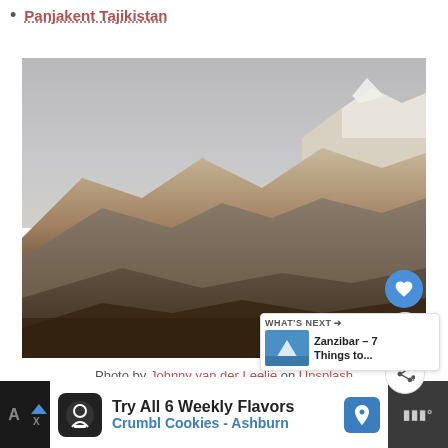Panjakent Tajikistan
[Figure (photo): Mountain landscape in Tajikistan showing rugged brown peaks with overcast grey sky and snow-capped summit in background]
Photo by Johnny van der Leelie on Unsplash
WHAT'S NEXT → Zanzibar – 7 Things to...